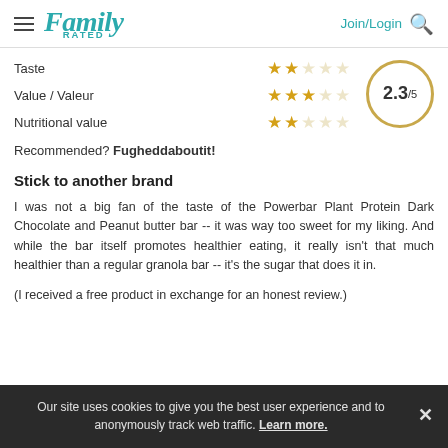Family Rated — Join/Login
| Category | Stars | Score |
| --- | --- | --- |
| Taste | ★★☆☆☆ |  |
| Value / Valeur | ★★★☆☆ | 2.3/5 |
| Nutritional value | ★★☆☆☆ |  |
Recommended? Fugheddaboutit!
Stick to another brand
I was not a big fan of the taste of the Powerbar Plant Protein Dark Chocolate and Peanut butter bar -- it was way too sweet for my liking. And while the bar itself promotes healthier eating, it really isn't that much healthier than a regular granola bar -- it's the sugar that does it in.
(I received a free product in exchange for an honest review.)
Our site uses cookies to give you the best user experience and to anonymously track web traffic. Learn more.